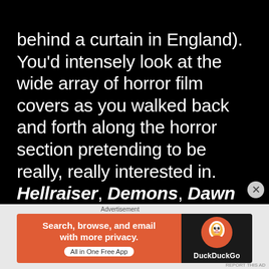behind a curtain in England). You'd intensely look at the wide array of horror film covers as you walked back and forth along the horror section pretending to be really, really interested in. Hellraiser, Demons, Dawn Of The Dead and so on. But, you'd then quickly flit your gaze upwards, toward that top shelf in a vain attempt to catch a glimpse of some Russ Meyer movie cover. Maybe a little side boob or censored nipple, this was the
[Figure (screenshot): DuckDuckGo advertisement banner: orange left panel with text 'Search, browse, and email with more privacy. All in One Free App', dark right panel with DuckDuckGo logo and name.]